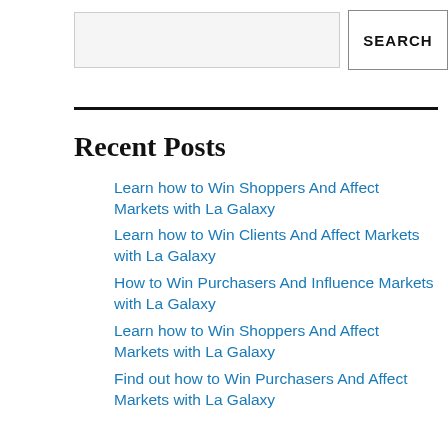SEARCH
Recent Posts
Learn how to Win Shoppers And Affect Markets with La Galaxy
Learn how to Win Clients And Affect Markets with La Galaxy
How to Win Purchasers And Influence Markets with La Galaxy
Learn how to Win Shoppers And Affect Markets with La Galaxy
Find out how to Win Purchasers And Affect Markets with La Galaxy